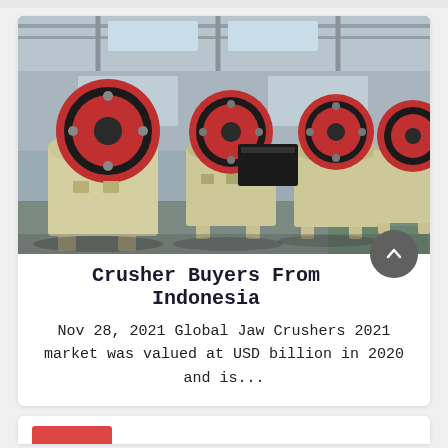[Figure (photo): Industrial jaw crusher machines lined up in a factory/warehouse. Multiple large cream/beige colored jaw crushers with prominent red and black flywheels visible. Steel industrial building interior with high ceiling.]
Crusher Buyers From Indonesia
Nov 28, 2021 Global Jaw Crushers 2021 market was valued at USD billion in 2020 and is...